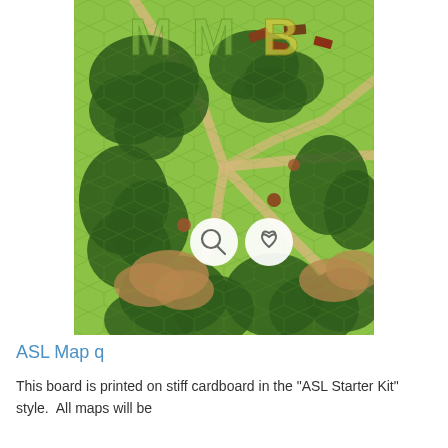[Figure (illustration): ASL (Advanced Squad Leader) hexagonal wargame map board showing green terrain hexes with dark green forest areas, tan/beige road/path network, brown earth patches, and small military unit counters (rifles/guns). Large watermark letters 'M M B' visible at top. Two circular icon buttons (search and heart/favorite) overlay the center-lower portion of the map.]
ASL Map q
This board is printed on stiff cardboard in the "ASL Starter Kit" style.  All maps will be